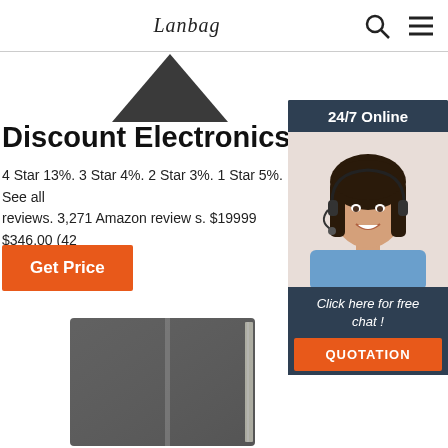Lanbag | Search | Menu
[Figure (photo): Dark triangular product image at top center]
Discount Electronics
4 Star 13%. 3 Star 4%. 2 Star 3%. 1 Star 5%. See all reviews. 3,271 Amazon review s. $19999 $346.00 (42 Price)
Get Price
[Figure (photo): 24/7 Online chat agent - woman with headset wearing blue shirt. Click here for free chat! QUOTATION]
[Figure (photo): Dark gray hardcover notebook/book shown at bottom center]